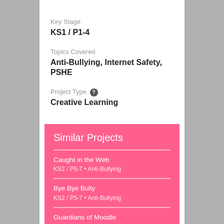Key Stage
KS1 / P1-4
Topics Covered
Anti-Bullying, Internet Safety, PSHE
Project Type
Creative Learning
Similar Projects
Caught in the Web
KS2 / P5-7 • Anti-Bullying
Bye Bye Bully
KS2 / P5-7 • Anti-Bullying
Guardians of Moodle